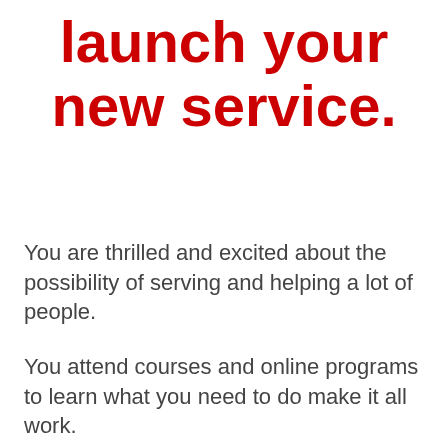launch your new service.
You are thrilled and excited about the possibility of serving and helping a lot of people.
You attend courses and online programs to learn what you need to do make it all work.
You get energized and excited about bringing this whole new vision